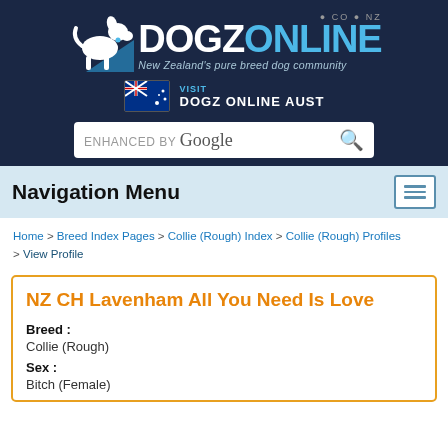[Figure (logo): DogzOnline.co.nz logo with white dog silhouette on blue triangle, text DOGZ in white and ONLINE in blue, tagline: New Zealand's pure breed dog community]
[Figure (infographic): Australian flag icon with text VISIT DOGZ ONLINE AUST]
[Figure (screenshot): Enhanced by Google search bar with magnifying glass icon]
Navigation Menu
Home > Breed Index Pages > Collie (Rough) Index > Collie (Rough) Profiles > View Profile
NZ CH Lavenham All You Need Is Love
Breed : Collie (Rough)
Sex : Bitch (Female)